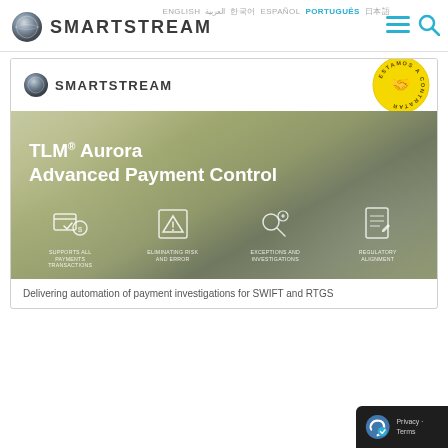[Figure (logo): SmartStream logo with globe icon in navigation header]
ENGLISH  العربية  한국어  ESPAÑOL  PORTUGUÊS  日本語
[Figure (screenshot): SmartStream TLM Aurora Advanced Payment Control product banner with icons: Supports All Payments Transactions, Eliminating Risk and Error, Exceptions and Investigations, Regulatory Alignment]
Delivering automation of payment investigations for SWIFT and RTGS